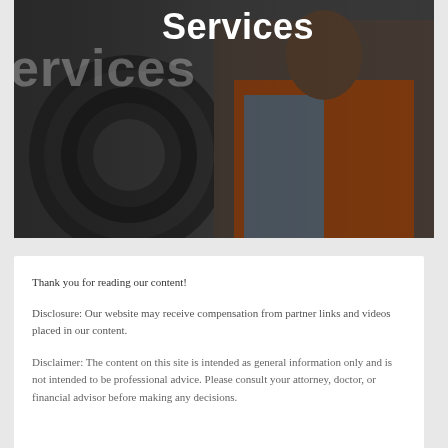[Figure (photo): A worker wearing an orange safety vest and denim jacket, looking at the camera while working near a large circular industrial drum or machine component. The image has dark overlay tones and text overlaid on top.]
Services
Thank you for reading our content!
Disclosure: Our website may receive compensation from partner links and videos placed in our content.
Disclaimer: The content on this site is intended as general information only and is not intended to be professional advice. Please consult your attorney, doctor, or financial advisor before making any decisions.